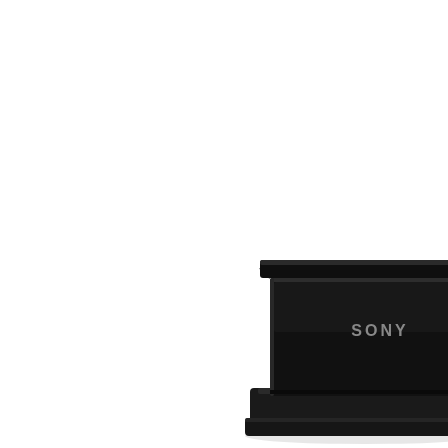(Move controller gyroscopic sens DualShock 3 tho PlayStation 4 ve

More intense, di on the Wii U Gan both are welcom included USB ca DualShock up to
[Figure (photo): A black Sony device (likely a PlayStation camera or accessory) photographed at an angle, showing the Sony logo on its surface. The device appears as a rectangular black unit with a smaller base, cropped at the right edge of the page.]